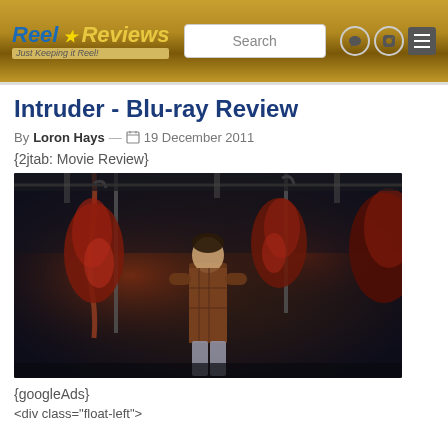Reel Reviews - Just Keeping it Reel!
Intruder - Blu-ray Review
By Loron Hays — 19 December 2011
{2jtab: Movie Review}
[Figure (photo): Still from the movie Intruder showing a man standing in a dark meat locker surrounded by hanging bloody carcasses]
{googleAds}
<div class="partial-text">...